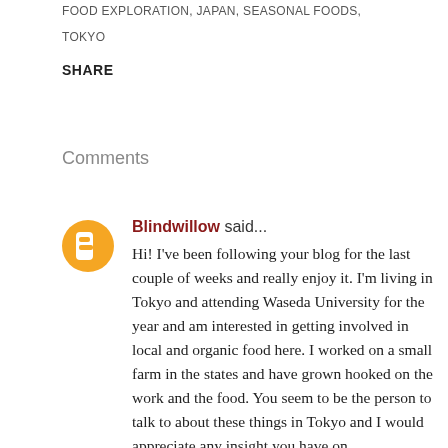FOOD EXPLORATION, JAPAN, SEASONAL FOODS,
TOKYO
SHARE
Comments
Blindwillow said...
Hi! I've been following your blog for the last couple of weeks and really enjoy it. I'm living in Tokyo and attending Waseda University for the year and am interested in getting involved in local and organic food here. I worked on a small farm in the states and have grown hooked on the work and the food. You seem to be the person to talk to about these things in Tokyo and I would appreciate any insight you have on